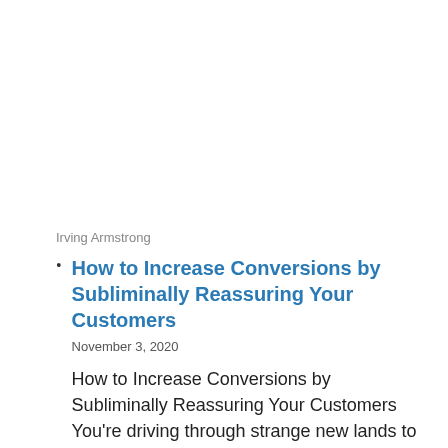Irving Armstrong
How to Increase Conversions by Subliminally Reassuring Your Customers
November 3, 2020
How to Increase Conversions by Subliminally Reassuring Your Customers You're driving through strange new lands to a destination you've never seen. Sometimes you go for